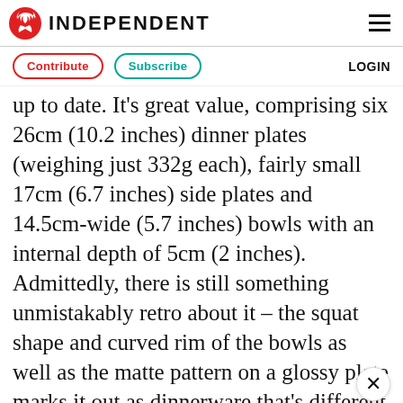INDEPENDENT
Contribute   Subscribe   LOGIN
up to date. It's great value, comprising six 26cm (10.2 inches) dinner plates (weighing just 332g each), fairly small 17cm (6.7 inches) side plates and 14.5cm-wide (5.7 inches) bowls with an internal depth of 5cm (2 inches). Admittedly, there is still something unmistakably retro about it – the squat shape and curved rim of the bowls as well as the matte pattern on a glossy plate marks it out as dinnerware that's different – but from a practical standpoint, it can't be beaten. The dinner plates fitted easily in the dishwasher too. This set won't appeal t